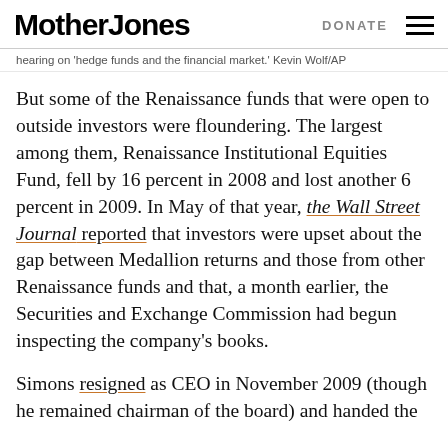Mother Jones | DONATE
hearing on 'hedge funds and the financial market.' Kevin Wolf/AP
But some of the Renaissance funds that were open to outside investors were floundering. The largest among them, Renaissance Institutional Equities Fund, fell by 16 percent in 2008 and lost another 6 percent in 2009. In May of that year, the Wall Street Journal reported that investors were upset about the gap between Medallion returns and those from other Renaissance funds and that, a month earlier, the Securities and Exchange Commission had begun inspecting the company's books.
Simons resigned as CEO in November 2009 (though he remained chairman of the board) and handed the